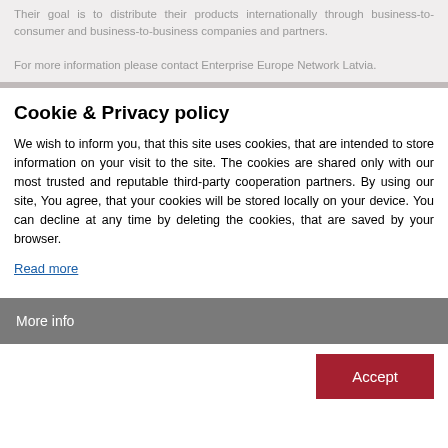Their goal is to distribute their products internationally through business-to-consumer and business-to-business companies and partners.
For more information please contact Enterprise Europe Network Latvia.
Cookie & Privacy policy
We wish to inform you, that this site uses cookies, that are intended to store information on your visit to the site. The cookies are shared only with our most trusted and reputable third-party cooperation partners. By using our site, You agree, that your cookies will be stored locally on your device. You can decline at any time by deleting the cookies, that are saved by your browser.
Read more
More info
Accept